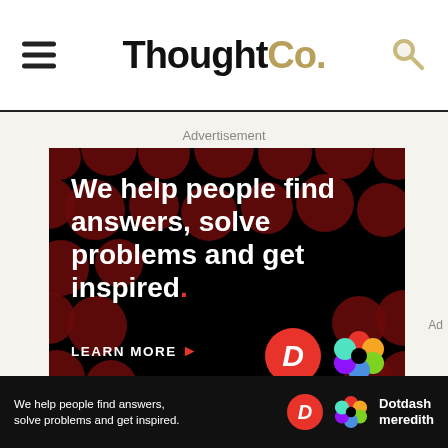ThoughtCo.
Advertisement
[Figure (screenshot): ThoughtCo / Dotdash advertisement: black background with dark red polka dots pattern, white text reading 'We help people find answers, solve problems and get inspired.' with red period, 'LEARN MORE' button with red arrow, Dotdash 'D' logo in red circle and Meredith colorful flower logo]
Ad
We help people find answers, solve problems and get inspired.
[Figure (logo): Dotdash D logo in red circle]
[Figure (logo): Dotdash Meredith colorful flower logo]
Dotdash meredith